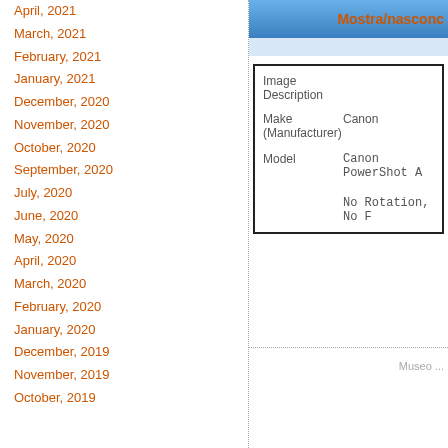April, 2021
March, 2021
February, 2021
January, 2021
December, 2020
November, 2020
October, 2020
September, 2020
July, 2020
June, 2020
May, 2020
April, 2020
March, 2020
February, 2020
January, 2020
December, 2019
November, 2019
October, 2019
[Figure (screenshot): A UI panel with a blue header showing 'Mostra/nascondi' text in orange, and an info box with fields: Image Description, Make (Manufacturer) = Canon, Model = Canon PowerShot A..., and 'No Rotation, No F...' text. A dotted footer line and 'Museo ...' text appear at the bottom.]